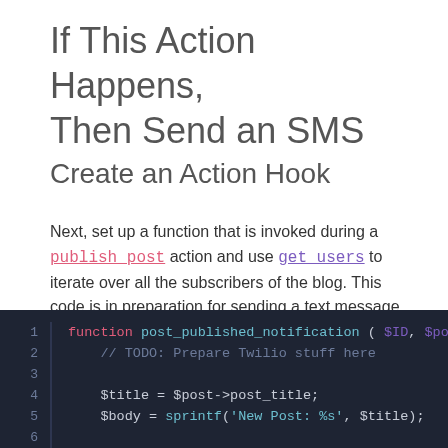If This Action Happens, Then Send an SMS
Create an Action Hook
Next, set up a function that is invoked during a publish_post action and use get_users to iterate over all the subscribers of the blog. This code is in preparation for sending a text message to each subscriber with a number attached to their profile.
[Figure (screenshot): Code block with dark background showing PHP function post_published_notification with line numbers 1-6. Line 1: function post_published_notification ( $ID, $pos. Line 2: // TODO: Prepare Twilio stuff here. Line 3: empty. Line 4: $title = $post->post_title;. Line 5: $body = sprintf('New Post: %s', $title);. Line 6: empty.]